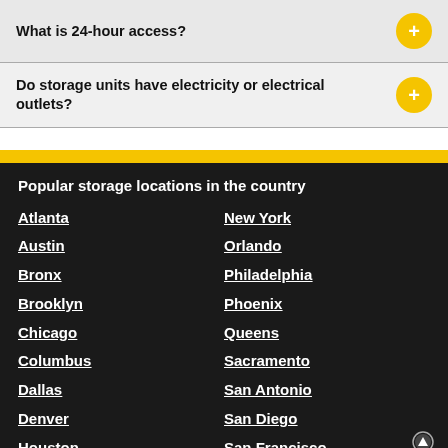What is 24-hour access?
Do storage units have electricity or electrical outlets?
Popular storage locations in the country
Atlanta
New York
Austin
Orlando
Bronx
Philadelphia
Brooklyn
Phoenix
Chicago
Queens
Columbus
Sacramento
Dallas
San Antonio
Denver
San Diego
Houston
San Francisco